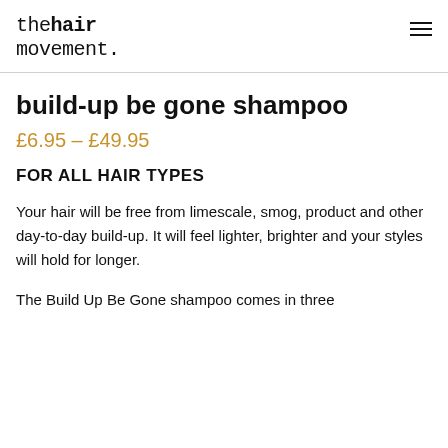the hair movement.
build-up be gone shampoo
£6.95 – £49.95
FOR ALL HAIR TYPES
Your hair will be free from limescale, smog, product and other day-to-day build-up. It will feel lighter, brighter and your styles will hold for longer.
The Build Up Be Gone shampoo comes in three